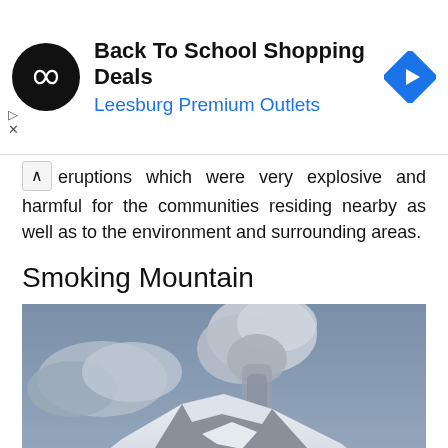[Figure (screenshot): Advertisement banner for 'Back To School Shopping Deals' at Leesburg Premium Outlets, with a circular black logo with infinity-like symbol, and a blue diamond navigation arrow icon.]
eruptions which were very explosive and harmful for the communities residing nearby as well as to the environment and surrounding areas.
Smoking Mountain
[Figure (photo): A black-and-white photograph of a snow-capped volcano (Smoking Mountain) emitting a large plume of ash and smoke against a cloudy blue-grey sky.]